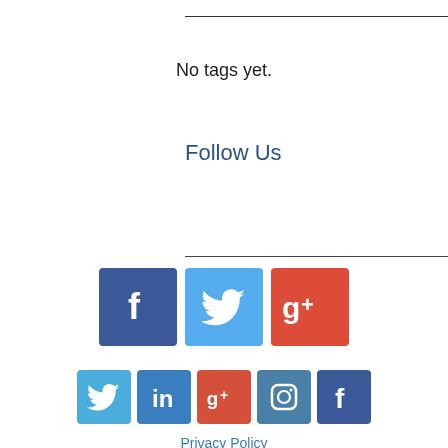No tags yet.
Follow Us
[Figure (infographic): Three large social media icons: Facebook (blue), Twitter (light blue), Google+ (red-orange)]
[Figure (infographic): Five small social media icons: Twitter, LinkedIn, Google+, Instagram, Facebook]
Privacy Policy
Terms + Conditions
Chokshi Filippone Law, LLC serves the